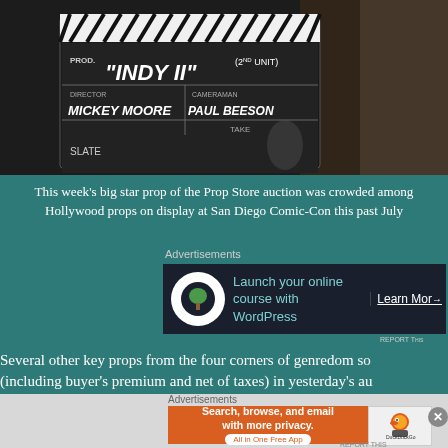[Figure (photo): Film clapperboard showing PROD. 'INDY II' (2nd Unit), Director: Mickey Moore, Cameraman: Paul Beeson, TAKE, SLATE — a movie production slate photographed close-up with a person partially visible in background]
This week's big star prop of the Prop Store auction was crowded among Hollywood props on display at San Diego Comic-Con this past July
Advertisements
[Figure (infographic): Advertisement: Launch your online course with WordPress — Learn More]
Several other key props from the four corners of genredom so (including buyer's premium and net of taxes) in yesterday's au endoskeleton from Terminator II: Judgment Day (1991) fetched a
Advertisements
[Figure (infographic): DuckDuckGo advertisement: Search, browse, and email with more privacy. All in One Free App]